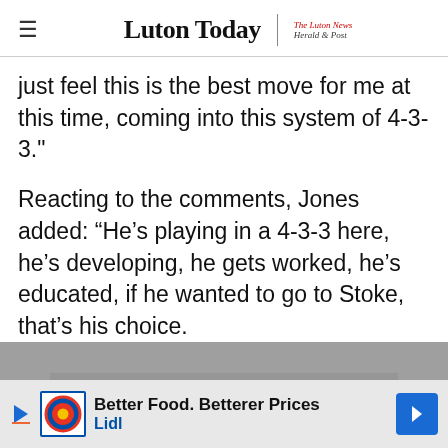Luton Today | The Luton News Herald & Post
just feel this is the best move for me at this time, coming into this system of 4-3-3."
Reacting to the comments, Jones added: “He’s playing in a 4-3-3 here, he’s developing, he gets worked, he’s educated, if he wanted to go to Stoke, that’s his choice.
Advertisement
“Without being disrespectful, the boy has gone through the roof here, in terms of his education, so if h…
[Figure (other): Lidl advertisement banner: Better Food. Betterer Prices, Lidl logo with navigation arrow]